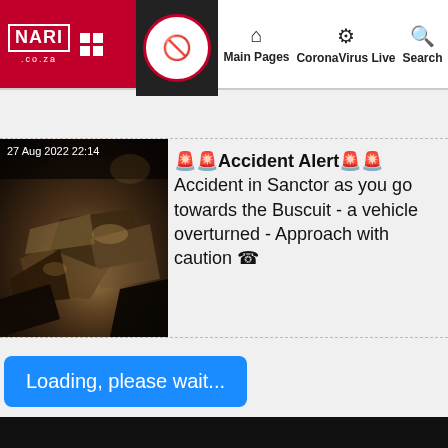NARI.co.za | Main Pages | CoronaVirus Live | Search
[Figure (photo): Accident scene photo taken at night showing overturned vehicle wreckage. Timestamp: 27 Aug 2022 22:14]
🚨🚨Accident Alert🚨🚨 Accident in Sanctor as you go towards the Buscuit - a vehicle overturned - Approach with caution ☎
Loading, please wait...